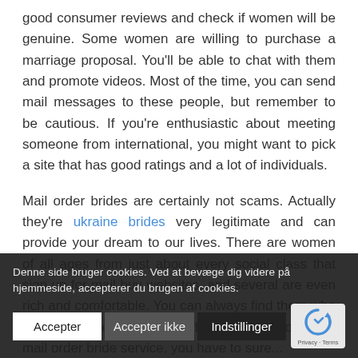good consumer reviews and check if women will be genuine. Some women are willing to purchase a marriage proposal. You'll be able to chat with them and promote videos. Most of the time, you can send mail messages to these people, but remember to be cautious. If you're enthusiastic about meeting someone from international, you might want to pick a site that has good ratings and a lot of individuals.
Mail order brides are certainly not scams. Actually they're ukraine brides very legitimate and can provide your dream to our lives. There are women of all ages from just about every social class that sign up for mail buy websites, and several are even rich and comfortable. You can always find them who are desperate and lonely. If you decide to use a mail order bride service, you have to sure...
Denne side bruger cookies. Ved at bevæge dig videre på hjemmeside, accepterer du brugen af cookies.